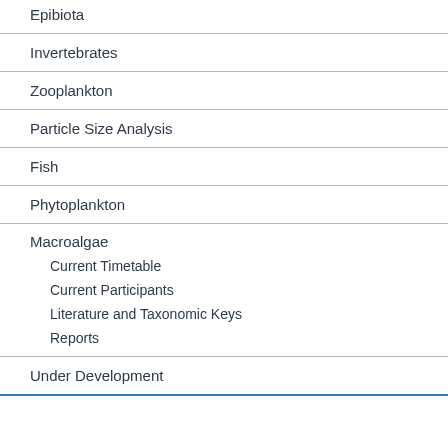Epibiota
Invertebrates
Zooplankton
Particle Size Analysis
Fish
Phytoplankton
Macroalgae
Current Timetable
Current Participants
Literature and Taxonomic Keys
Reports
Under Development